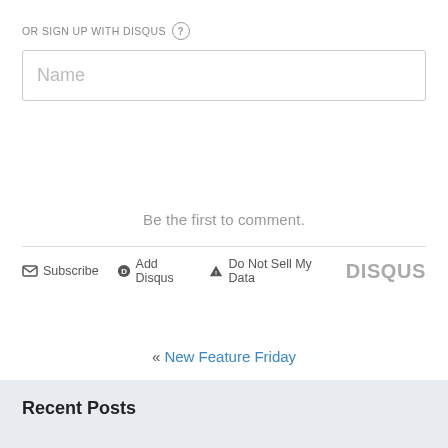OR SIGN UP WITH DISQUS ?
Name
Be the first to comment.
Subscribe  Add Disqus  Do Not Sell My Data  DISQUS
« New Feature Friday
Runestone Dashboard »
Recent Posts